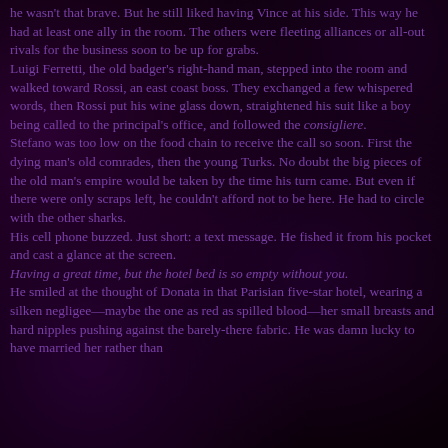he wasn't that brave. But he still liked having Vince at his side. This way he had at least one ally in the room. The others were fleeting alliances or all-out rivals for the business soon to be up for grabs.
Luigi Ferretti, the old badger's right-hand man, stepped into the room and walked toward Rossi, an east coast boss. They exchanged a few whispered words, then Rossi put his wine glass down, straightened his suit like a boy being called to the principal's office, and followed the consigliere.
Stefano was too low on the food chain to receive the call so soon. First the dying man's old comrades, then the young Turks. No doubt the big pieces of the old man's empire would be taken by the time his turn came. But even if there were only scraps left, he couldn't afford not to be here. He had to circle with the other sharks.
His cell phone buzzed. Just short: a text message. He fished it from his pocket and cast a glance at the screen.
Having a great time, but the hotel bed is so empty without you.
He smiled at the thought of Donata in that Parisian five-star hotel, wearing a silken negligee—maybe the one as red as spilled blood—her small breasts and hard nipples pushing against the barely-there fabric. He was damn lucky to have married her rather than